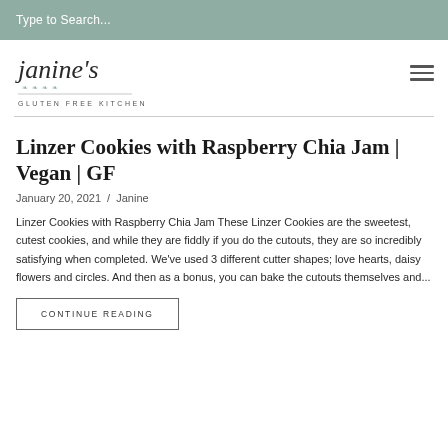Type to Search...
[Figure (logo): Janine's Gluten Free Kitchen logo with script text and leaf decoration]
Linzer Cookies with Raspberry Chia Jam | Vegan | GF
January 20, 2021 / Janine
Linzer Cookies with Raspberry Chia Jam These Linzer Cookies are the sweetest, cutest cookies, and while they are fiddly if you do the cutouts, they are so incredibly satisfying when completed. We've used 3 different cutter shapes; love hearts, daisy flowers and circles. And then as a bonus, you can bake the cutouts themselves and...
CONTINUE READING